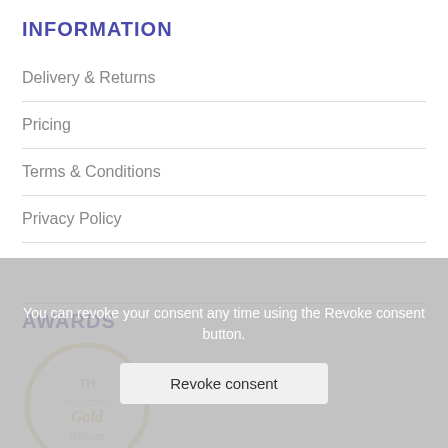INFORMATION
Delivery & Returns
Pricing
Terms & Conditions
Privacy Policy
AWARDS
[Figure (illustration): Circular award badge with gold border, partially visible, showing 'Gold Winner' text, greyed out]
You can revoke your consent any time using the Revoke consent button.